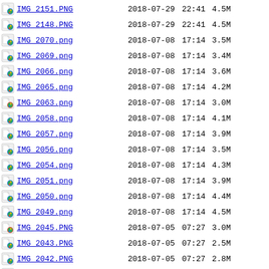IMG_2151.PNG  2018-07-29 22:41  4.5M
IMG_2148.PNG  2018-07-29 22:41  4.5M
IMG_2070.png  2018-07-08 17:14  3.5M
IMG_2069.png  2018-07-08 17:14  3.4M
IMG_2066.png  2018-07-08 17:14  3.6M
IMG_2065.png  2018-07-08 17:14  4.2M
IMG_2063.png  2018-07-08 17:14  3.0M
IMG_2058.png  2018-07-08 17:14  4.1M
IMG_2057.png  2018-07-08 17:14  3.9M
IMG_2056.png  2018-07-08 17:14  3.5M
IMG_2054.png  2018-07-08 17:14  4.3M
IMG_2051.png  2018-07-08 17:14  3.9M
IMG_2050.png  2018-07-08 17:14  4.4M
IMG_2049.png  2018-07-08 17:14  4.5M
IMG_2045.PNG  2018-07-05 07:27  3.0M
IMG_2043.PNG  2018-07-05 07:27  2.5M
IMG_2042.PNG  2018-07-05 07:27  2.8M